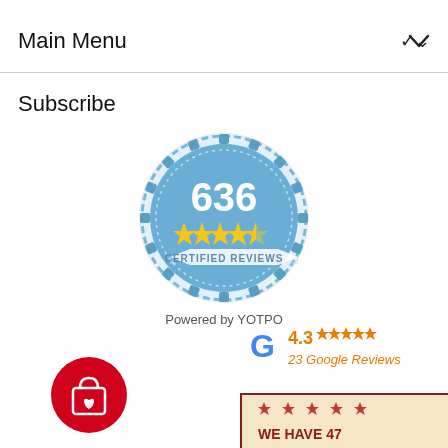Main Menu
Subscribe
[Figure (logo): YOTPO certified reviews badge showing 636 reviews with 4.5 stars]
Powered by YOTPO
[Figure (logo): Google rating badge showing 4.3 stars and 23 Google Reviews]
[Figure (logo): Red banner with star icons and text WE HAVE 47]
[Figure (logo): Red circle wishlist/shopping bag button icon]